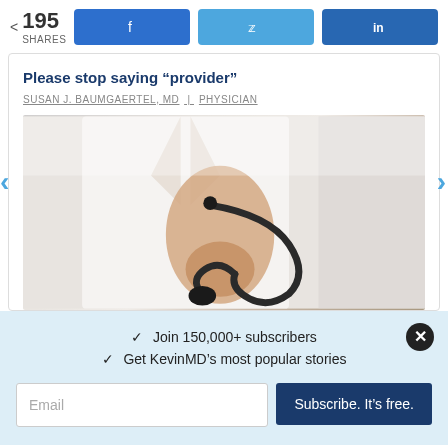< 195 SHARES | Facebook | Twitter | LinkedIn
Please stop saying “provider”
SUSAN J. BAUMGAERTEL, MD | PHYSICIAN
[Figure (photo): A person in a white coat holding a stethoscope]
✓ Join 150,000+ subscribers
✓ Get KevinMD’s most popular stories
Email | Subscribe. It’s free.